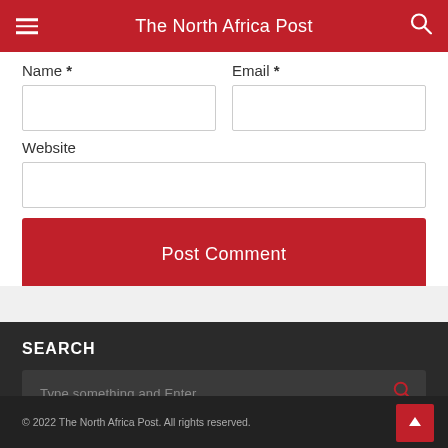The North Africa Post
Name *
Email *
Website
Post Comment
SEARCH
Type something and Enter
© 2022 The North Africa Post. All rights reserved.